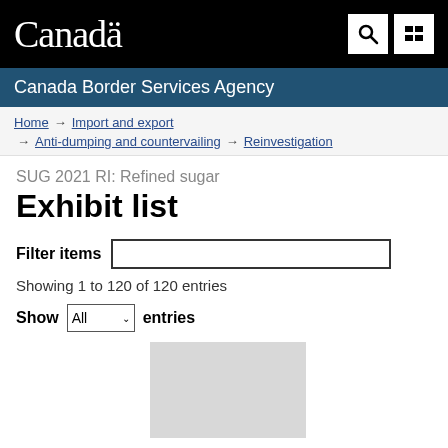[Figure (logo): Canada wordmark (white text on black background) with search and grid icons]
Canada Border Services Agency
Home → Import and export → Anti-dumping and countervailing → Reinvestigation
SUG 2021 RI: Refined sugar
Exhibit list
Filter items [input box]
Showing 1 to 120 of 120 entries
Show All entries
[Figure (screenshot): Partial gray rectangle representing the top of a truncated data table]